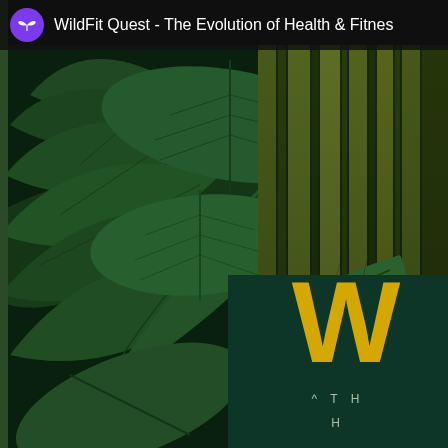WildFit Quest - The Evolution of Health & Fitness
[Figure (photo): Close-up photograph of large dark green tropical leaves overlapping, with a secondary split panel on the right showing yellowish-green striped plant stems/stalks. In the bottom-right corner is a dark teal overlay panel with a large yellow 'W' letter, a caret symbol, and partial text 'TH' and 'H' in light green/grey color, representing the WildFit Quest branding/book cover.]